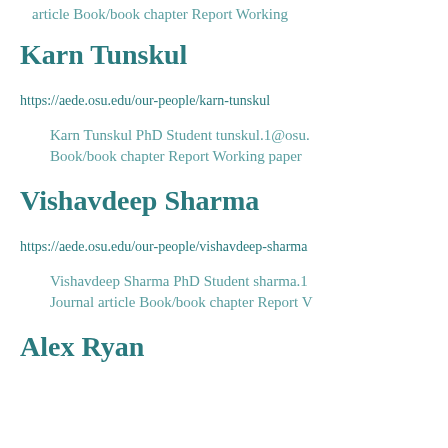article Book/book chapter Report Working...
Karn Tunskul
https://aede.osu.edu/our-people/karn-tunskul
Karn Tunskul PhD Student tunskul.1@osu....
Book/book chapter Report Working paper...
Vishavdeep Sharma
https://aede.osu.edu/our-people/vishavdeep-sharma...
Vishavdeep Sharma PhD Student sharma.1...
Journal article Book/book chapter Report V...
Alex Ryan